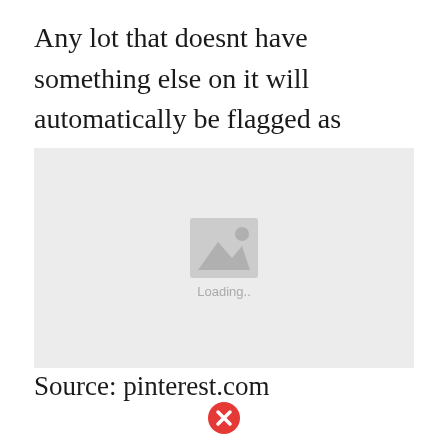Any lot that doesnt have something else on it will automatically be flagged as Retail when purchased.
[Figure (photo): Image placeholder with loading indicator showing a grey box with a mountain/photo icon and 'Loading..' text]
Source: pinterest.com
[Figure (other): Red circle with white X error icon]